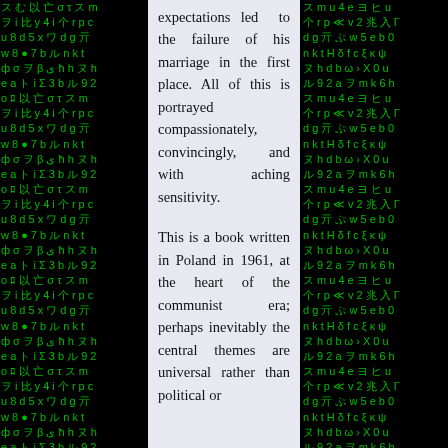[Figure (other): Matrix-style background with green Japanese/alphanumeric characters on black, flanking a central text column on both left and right sides.]
expectations led to the failure of his marriage in the first place. All of this is portrayed compassionately, convincingly, and with aching sensitivity.

This is a book written in Poland in 1961, at the heart of the communist era; perhaps inevitably the central themes are universal rather than political or